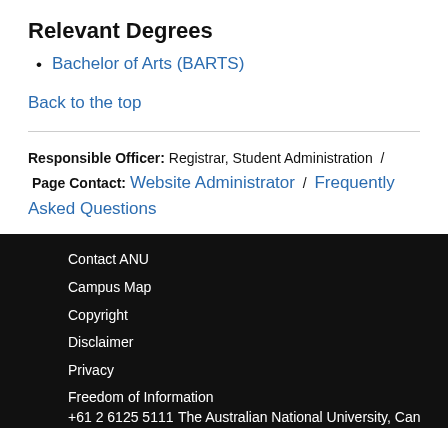Relevant Degrees
Bachelor of Arts (BARTS)
Back to the top
Responsible Officer: Registrar, Student Administration  /  Page Contact: Website Administrator  /  Frequently Asked Questions
Contact ANU
Campus Map
Copyright
Disclaimer
Privacy
Freedom of Information
+61 2 6125 5111
The Australian National University, Canberra